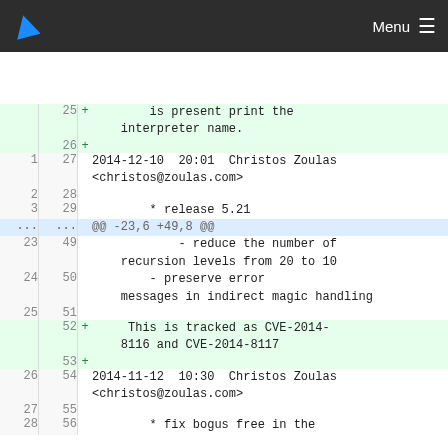Menu
25 + is present print the interpreter name.
26 +
1 27 2014-12-10  20:01  Christos Zoulas <christos@zoulas.com>
2 28
3 29         * release 5.21
... ... @@ -23,6 +49,8 @@
23 49             - reduce the number of recursion levels from 20 to 10
24 50         - preserve error messages in indirect magic handling
25 51
52 +     This is tracked as CVE-2014-8116 and CVE-2014-8117
53 +
26 54 2014-11-12  10:30  Christos Zoulas <christos@zoulas.com>
27 55
28 56         * fix bogus free in the